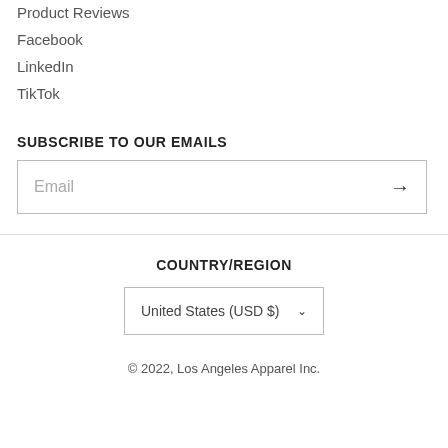Product Reviews
Facebook
LinkedIn
TikTok
SUBSCRIBE TO OUR EMAILS
Email
COUNTRY/REGION
United States (USD $)
© 2022, Los Angeles Apparel Inc.